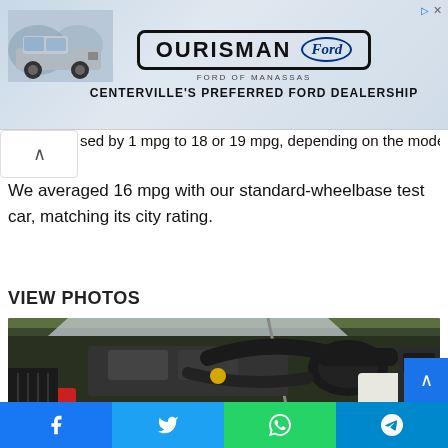[Figure (other): Ourisman Ford of Manassas advertisement banner showing a Ford truck on the left and the Ourisman Ford logo with text 'Centerville's Preferred Ford Dealership']
sed by 1 mpg to 18 or 19 mpg, depending on the model.
We averaged 16 mpg with our standard-wheelbase test car, matching its city rating.
VIEW PHOTOS
[Figure (photo): Close-up photograph of a vehicle engine bay showing the engine components, intake pipes, and various mechanical parts under an open hood.]